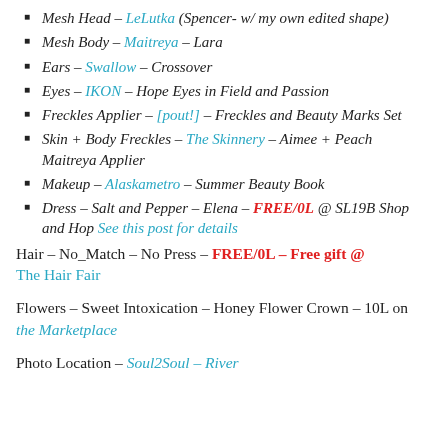Mesh Head – LeLutka (Spencer- w/ my own edited shape)
Mesh Body – Maitreya – Lara
Ears – Swallow – Crossover
Eyes – IKON – Hope Eyes in Field and Passion
Freckles Applier – [pout!] – Freckles and Beauty Marks Set
Skin + Body Freckles – The Skinnery – Aimee + Peach Maitreya Applier
Makeup – Alaskametro – Summer Beauty Book
Dress – Salt and Pepper – Elena – FREE/0L @ SL19B Shop and Hop See this post for details
Hair – No_Match – No Press – FREE/0L – Free gift @ The Hair Fair
Flowers – Sweet Intoxication – Honey Flower Crown – 10L on the Marketplace
Photo Location – Soul2Soul – River